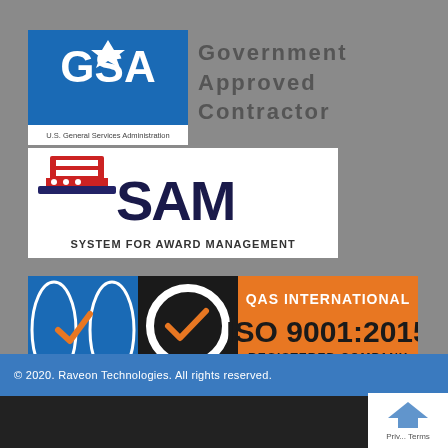[Figure (logo): GSA U.S. General Services Administration blue logo with star and arrow]
Government
Approved
Contractor
[Figure (logo): SAM System For Award Management logo with Uncle Sam hat]
[Figure (logo): QAS International ISO 9001:2015 Registered Company badge with Certificate No. US4389]
Follow Us on LinkedIn
[Figure (logo): LinkedIn rounded square icon with 'in' logo]
© 2020. Raveon Technologies. All rights reserved.